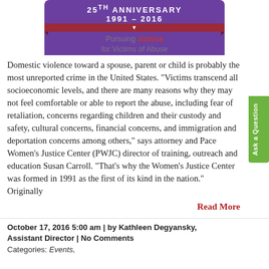[Figure (logo): 25th Anniversary 1991-2016 Pursuing Justice for Victims of Abuse banner/logo with purple background and red ribbon]
Domestic violence toward a spouse, parent or child is probably the most unreported crime in the United States. “Victims transcend all socioeconomic levels, and there are many reasons why they may not feel comfortable or able to report the abuse, including fear of retaliation, concerns regarding children and their custody and safety, cultural concerns, financial concerns, and immigration and deportation concerns among others,” says attorney and Pace Women’s Justice Center (PWJC) director of training, outreach and education Susan Carroll. “That’s why the Women’s Justice Center was formed in 1991 as the first of its kind in the nation.”   Originally
Read More
October 17, 2016 5:00 am | by Kathleen Degyansky, Assistant Director | No Comments
Categories: Events,